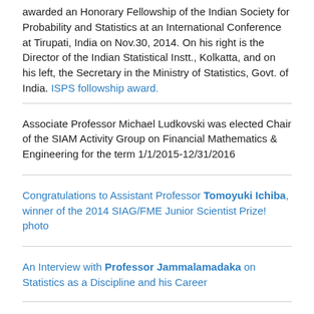awarded an Honorary Fellowship of the Indian Society for Probability and Statistics at an International Conference at Tirupati, India on Nov.30, 2014. On his right is the Director of the Indian Statistical Instt., Kolkatta, and on his left, the Secretary in the Ministry of Statistics, Govt. of India. ISPS followship award.
Associate Professor Michael Ludkovski was elected Chair of the SIAM Activity Group on Financial Mathematics & Engineering for the term 1/1/2015-12/31/2016
Congratulations to Assistant Professor Tomoyuki Ichiba, winner of the 2014 SIAG/FME Junior Scientist Prize! photo
An Interview with Professor Jammalamadaka on Statistics as a Discipline and his Career